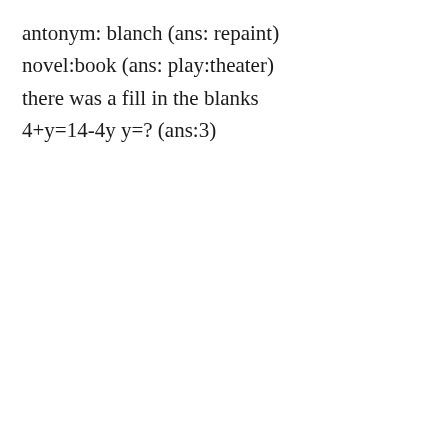antonym: blanch (ans: repaint)
novel:book (ans: play:theater)
there was a fill in the blanks
4+y=14-4y y=? (ans:3)